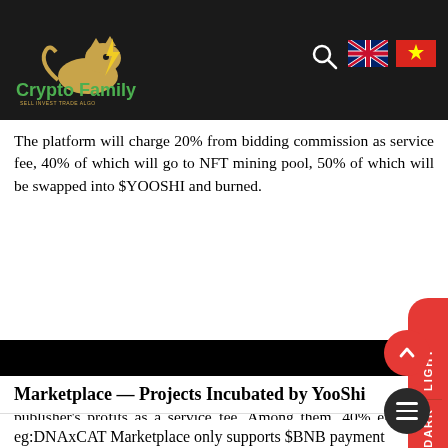Crypto Family
The platform will charge 20% from bidding commission as service fee, 40% of which will go to NFT mining pool, 50% of which will be swapped into $YOOSHI and burned.
After the auction is successful, the platform will charge 3% of the publisher's profits as a service fee. Among them, 40% enter the YooShi NFT farming pool, 50% will be exchanged for $YOOSHI and burned.
Marketplace — Projects Incubated by YooShi
eg:DNAxCAT Marketplace only supports $BNB payment